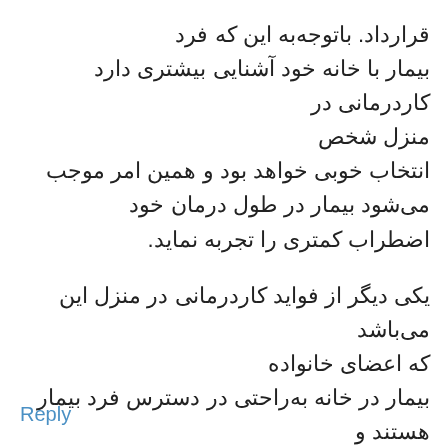قرارداد. باتوجه به این که فرد بیمار با خانه خود آشنایی بیشتری دارد کاردرمانی در منزل شخص انتخاب خوبی خواهد بود و همین امر موجب می‌شود بیمار در طول درمان خود اضطراب کمتری را تجربه نماید.
یکی دیگر از فواید کاردرمانی در منزل این می‌باشد که اعضای خانواده بیمار در خانه به‌راحتی در دسترس فرد بیمار هستند و می‌توانند بیشتر درگیر بهبودی عزیزان خود شوند.
Reply